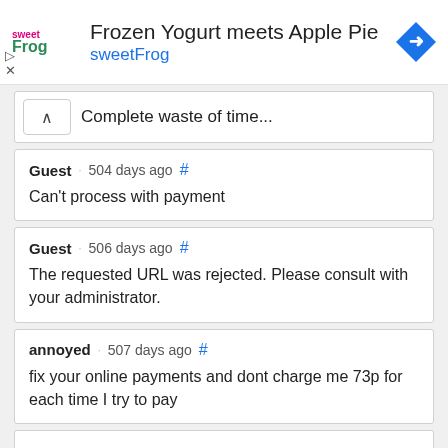[Figure (other): sweetFrog advertisement banner with logo, title 'Frozen Yogurt meets Apple Pie', subtitle 'sweetFrog', and a blue navigation/directions diamond icon]
Complete waste of time...
Guest · 504 days ago #
Can't process with payment
Guest · 506 days ago #
The requested URL was rejected. Please consult with your administrator.
annoyed · 507 days ago #
fix your online payments and dont charge me 73p for each time I try to pay